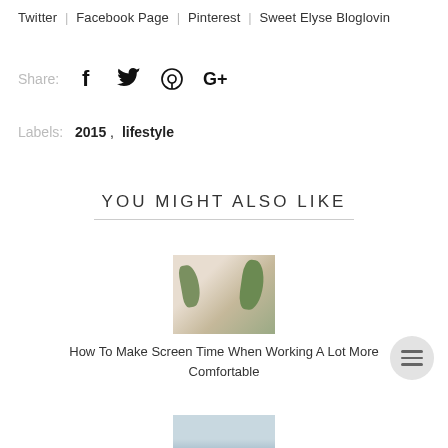Twitter | Facebook Page | Pinterest | Sweet Elyse Bloglovin
Share:  [facebook] [twitter] [pinterest] [google+]
Labels:  2015 ,  lifestyle
YOU MIGHT ALSO LIKE
[Figure (photo): A home office workspace with plants and a laptop on a low table, warm natural light.]
How To Make Screen Time When Working A Lot More Comfortable
[Figure (photo): Partial image of another article, visible at the bottom of the page.]